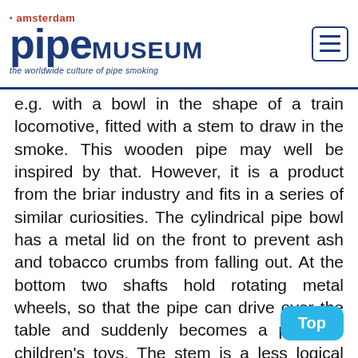amsterdam pipe MUSEUM the worldwide culture of pipe smoking
e.g. with a bowl in the shape of a train locomotive, fitted with a stem to draw in the smoke. This wooden pipe may well be inspired by that. However, it is a product from the briar industry and fits in a series of similar curiosities. The cylindrical pipe bowl has a metal lid on the front to prevent ash and tobacco crumbs from falling out. At the bottom two shafts hold rotating metal wheels, so that the pipe can drive over the table and suddenly becomes a piece of children's toys. The stem is a less logical part, it is purely functional, made of hard rubber. If you do not draw from the pipe for a moment, a plume of smoke will come from the chimney of the locomotive, which is of